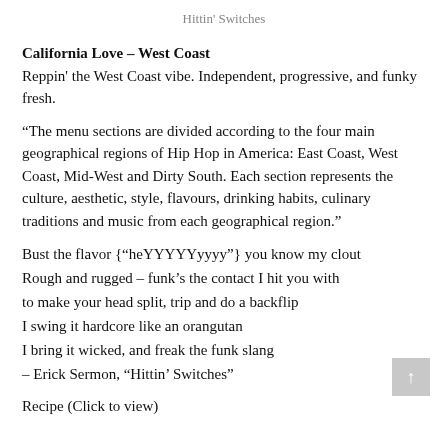Hittin' Switches
California Love – West Coast
Reppin' the West Coast vibe. Independent, progressive, and funky fresh.
“The menu sections are divided according to the four main geographical regions of Hip Hop in America: East Coast, West Coast, Mid-West and Dirty South. Each section represents the culture, aesthetic, style, flavours, drinking habits, culinary traditions and music from each geographical region.”
Bust the flavor {“heYYYYYyyyy”} you know my clout
Rough and rugged – funk’s the contact I hit you with
to make your head split, trip and do a backflip
I swing it hardcore like an orangutan
I bring it wicked, and freak the funk slang
– Erick Sermon, “Hittin’ Switches”
Recipe (Click to view)